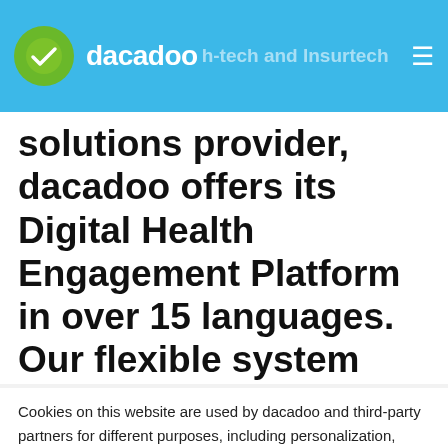dacadoo — Health-tech and Insurtech
solutions provider, dacadoo offers its Digital Health Engagement Platform in over 15 languages. Our flexible system
Cookies on this website are used by dacadoo and third-party partners for different purposes, including personalization, improvement of the user experience on the website and measurement of site usage. To manage or disable these cookies, click on cookie settings or for more information please visit our Cookie Notice.
Read more | Cookie settings | Reject
Accept